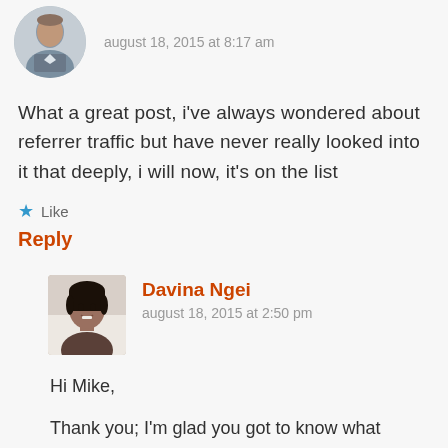[Figure (photo): Avatar photo of a man in a suit]
august 18, 2015 at 8:17 am
What a great post, i've always wondered about referrer traffic but have never really looked into it that deeply, i will now, it's on the list
★ Like
Reply
[Figure (photo): Avatar photo of Davina Ngei, a smiling woman]
Davina Ngei
august 18, 2015 at 2:50 pm
Hi Mike,
Thank you; I'm glad you got to know what referrer spam is. Setting up the filters